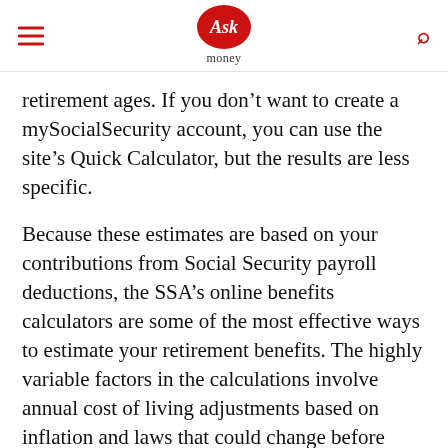Ask money
retirement ages. If you don’t want to create a mySocialSecurity account, you can use the site’s Quick Calculator, but the results are less specific.
Because these estimates are based on your contributions from Social Security payroll deductions, the SSA’s online benefits calculators are some of the most effective ways to estimate your retirement benefits. The highly variable factors in the calculations involve annual cost of living adjustments based on inflation and laws that could change before your retirement date.